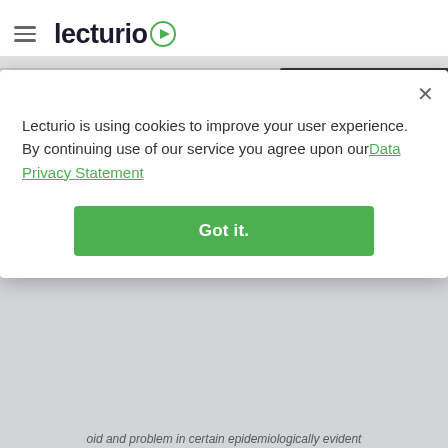Lecturio
Classification
General Characteristics
Epidemiology and Pathogenesis
[Figure (screenshot): Countdown timer widget showing 02 Days, 08 Hours, 44 Min, 35 Sec with EXTENDED! text]
Lecturio is using cookies to improve your user experience. By continuing use of our service you agree upon our Data Privacy Statement
Got it.